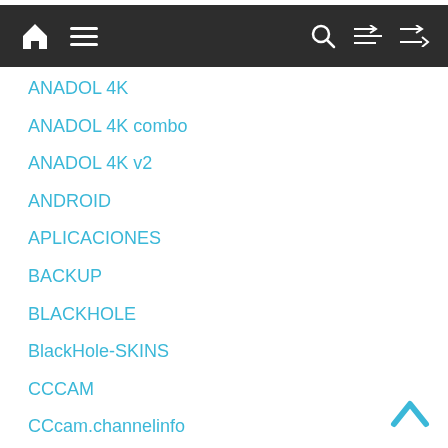Navigation bar with home, menu, search, shuffle icons
ANADOL 4K
ANADOL 4K combo
ANADOL 4K v2
ANDROID
APLICACIONES
BACKUP
BLACKHOLE
BlackHole-SKINS
CCCAM
CCcam.channelinfo
CHANNEL LIST
DINOBOT 4K
DINOBOT 4K PLUS